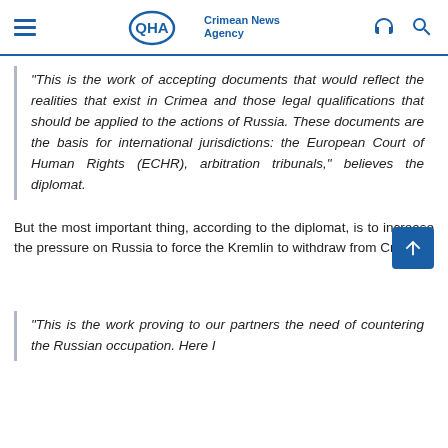QHA Crimean News Agency
“This is the work of accepting documents that would reflect the realities that exist in Crimea and those legal qualifications that should be applied to the actions of Russia. These documents are the basis for international jurisdictions: the European Court of Human Rights (ECHR), arbitration tribunals,” believes the diplomat.
But the most important thing, according to the diplomat, is to increase the pressure on Russia to force the Kremlin to withdraw from Crimea.
“This is the work proving to our partners the need of countering the Russian occupation. Here I